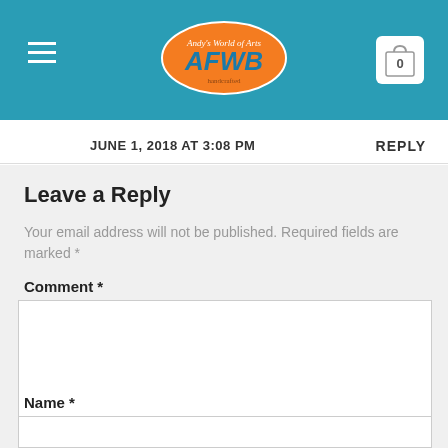[Figure (logo): AFWB website header with teal background, hamburger menu icon on left, orange oval logo with 'AFWB' text in center, shopping cart icon with 0 on right]
JUNE 1, 2018 AT 3:08 PM
REPLY
Leave a Reply
Your email address will not be published. Required fields are marked *
Comment *
Name *